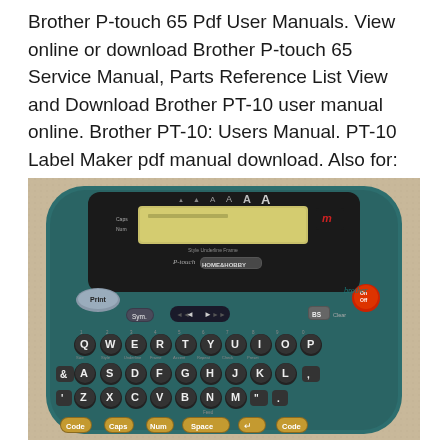Brother P-touch 65 Pdf User Manuals. View online or download Brother P-touch 65 Service Manual, Parts Reference List View and Download Brother PT-10 user manual online. Brother PT-10: Users Manual. PT-10 Label Maker pdf manual download. Also for: P-touch iii pt-10.
[Figure (photo): Photo of a Brother P-touch Home & Hobby label maker (teal/dark green color) showing the keyboard with QWERTY layout, function keys (Print, Sym, BS, On/Off, Code, Caps, Num, Space), and an LCD display screen. The device is placed on a beige carpet surface.]